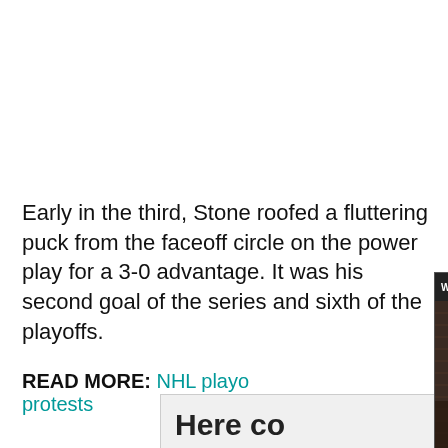Early in the third, Stone roofed a fluttering puck from the faceoff circle on the power play for a 3-0 advantage. It was his second goal of the series and sixth of the playoffs.
READ MORE: NHL playo... protests
[Figure (screenshot): Video popup overlay showing 'Why the Blackhawks should bring back ...' title bar with close X button, and an NBC Sports Chicago studio scene with three men sitting and talking, Blackhawks and Gretzky merchandise visible, with a mute button overlay.]
Here co